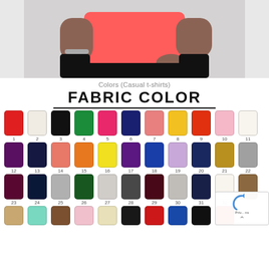[Figure (photo): Model wearing a red/coral t-shirt with black pants, torso visible from waist to mid-thigh on gray background]
Colors (Casual t-shirts)
FABRIC COLOR
[Figure (infographic): Fabric color swatch chart showing numbered color swatches 1-32+ in a grid. Row 1: 1-red, 2-white/cream, 3-black, 4-green, 5-hot pink, 6-navy, 7-salmon/coral, 8-yellow, 9-red-orange, 10-light pink, 11-white/off-white. Row 2: 12-purple, 13-dark navy, 14-salmon, 15-orange, 16-yellow, 17-purple, 18-royal blue, 19-lavender, 20-navy, 21-gold/mustard, 22-gray. Row 3: 23-dark purple, 24-dark navy, 25-gray, 26-dark green, 27-light gray/heather, 28-charcoal, 29-dark maroon, 30-gray, 31-dark navy, 32-partial. Row 4 (partial): 33-tan, 34-mint/light teal, 35-brown, 36-light pink, 37-cream/tan, 38-black, 39-red, 40-blue, 41-black, 42-red.]